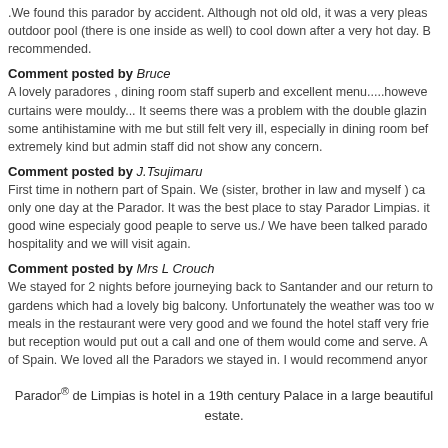.We found this parador by accident. Although not old old, it was a very pleasant surprise, outdoor pool (there is one inside as well) to cool down after a very hot day. B recommended.
Comment posted by Bruce
A lovely paradores , dining room staff superb and excellent menu.....however curtains were mouldy... It seems there was a problem with the double glazing some antihistamine with me but still felt very ill, especially in dining room bef extremely kind but admin staff did not show any concern.
Comment posted by J.Tsujimaru
First time in nothern part of Spain. We (sister, brother in law and myself ) ca only one day at the Parador. It was the best place to stay Parador Limpias. it good wine especialy good peaple to serve us./ We have been talked parado hospitality and we will visit again.
Comment posted by Mrs L Crouch
We stayed for 2 nights before journeying back to Santander and our return to gardens which had a lovely big balcony. Unfortunately the weather was too w meals in the restaurant were very good and we found the hotel staff very frie but reception would put out a call and one of them would come and serve. A of Spain. We loved all the Paradors we stayed in. I would recommend anyor
Parador® de Limpias is hotel in a 19th century Palace in a large beautiful estate.